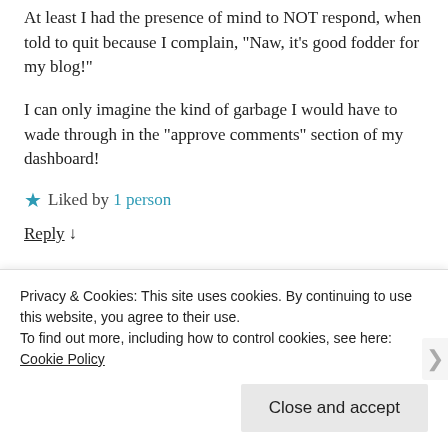At least I had the presence of mind to NOT respond, when told to quit because I complain, “Naw, it’s good fodder for my blog!”
I can only imagine the kind of garbage I would have to wade through in the “approve comments” section of my dashboard!
★ Liked by 1 person
Reply ↓
Privacy & Cookies: This site uses cookies. By continuing to use this website, you agree to their use.
To find out more, including how to control cookies, see here: Cookie Policy
Close and accept